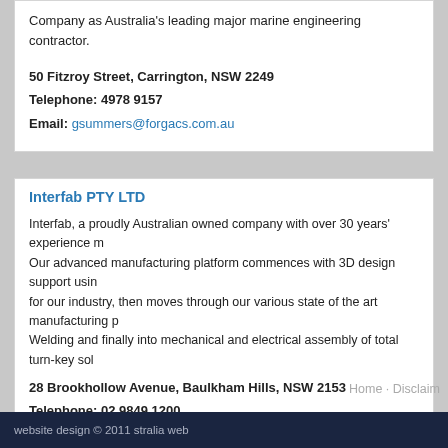Company as Australia's leading major marine engineering contractor.
50 Fitzroy Street, Carrington, NSW 2249
Telephone: 4978 9157
Email: gsummers@forgacs.com.au
Interfab PTY LTD
Interfab, a proudly Australian owned company with over 30 years' experience m... Our advanced manufacturing platform commences with 3D design support usin... for our industry, then moves through our various state of the art manufacturing p... Welding and finally into mechanical and electrical assembly of total turn-key sol...
28 Brookhollow Avenue, Baulkham Hills, NSW 2153
Telephone: 02 9849 1200
Email: bertie@interfab.net
Home · Disclaim...
website design © 2011 stralia web